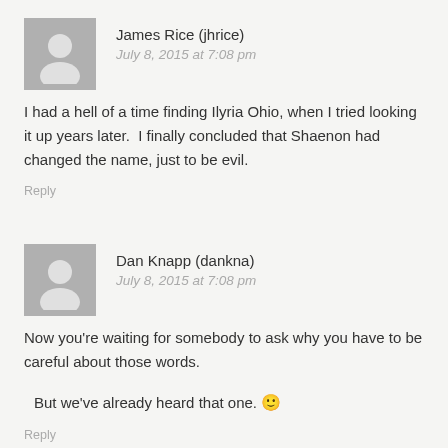James Rice (jhrice)
July 8, 2015 at 7:08 pm
I had a hell of a time finding Ilyria Ohio, when I tried looking it up years later.  I finally concluded that Shaenon had changed the name, just to be evil.
Reply
Dan Knapp (dankna)
July 8, 2015 at 7:08 pm
Now you're waiting for somebody to ask why you have to be careful about those words.
But we've already heard that one. 🙂
Reply